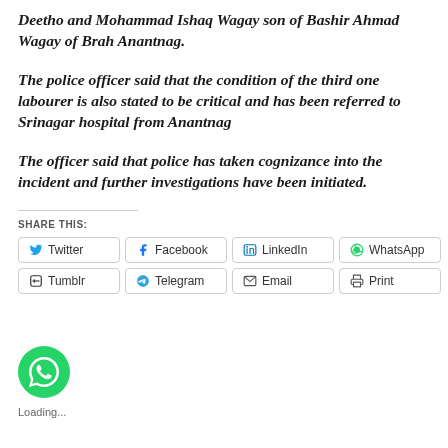Deetho and Mohammad Ishaq Wagay son of Bashir Ahmad Wagay of Brah Anantnag.
The police officer said that the condition of the third one labourer is also stated to be critical and has been referred to Srinagar hospital from Anantnag
The officer said that police has taken cognizance into the incident and further investigations have been initiated.
SHARE THIS:
Twitter Facebook LinkedIn WhatsApp Tumblr Telegram Email Print
[Figure (logo): WhatsApp floating button icon (green circle with phone handset)]
Loading...